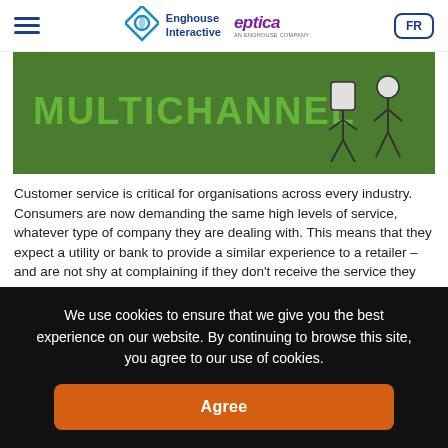Enghouse Interactive | eptica | FR
[Figure (illustration): Green banner with stylized text 'MULTICHANNEL' and illustrated robot/figure characters on a green background]
Customer service is critical for organisations across every industry. Consumers are now demanding the same high levels of service, whatever type of company they are dealing with. This means that they expect a utility or bank to provide a similar experience to a retailer – and are not shy at complaining if they don't receive the service they want.This equally applies to the public secto...
We use cookies to ensure that we give you the best experience on our website. By continuing to browse this site, you agree to our use of cookies.
Agree